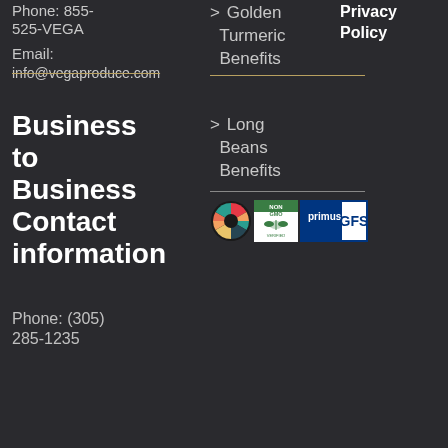Phone: 855-525-VEGA
Email:
info@vegaproduce.com
> Golden Turmeric Benefits
Privacy Policy
> Long Beans Benefits
Business to Business Contact information
[Figure (logo): Three certification logos: colorful wheel logo, Non-GMO Project Verified, and PrimusGFS]
Phone: (305) 285-1235